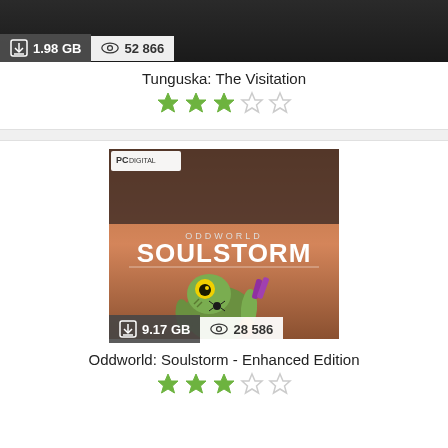[Figure (screenshot): Game cover image for Tunguska: The Visitation with download size 1.98 GB and 52 866 views badge]
Tunguska: The Visitation
[Figure (other): 3-star rating out of 5 (3 filled green stars, 2 empty)]
[Figure (screenshot): Game cover image for Oddworld: Soulstorm - Enhanced Edition with PC DIGITAL badge, download size 9.17 GB and 28 586 views]
Oddworld: Soulstorm - Enhanced Edition
[Figure (other): 3-star rating out of 5 (3 filled green stars, 2 empty)]